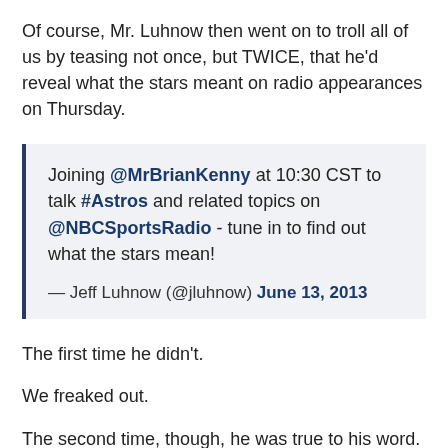Of course, Mr. Luhnow then went on to troll all of us by teasing not once, but TWICE, that he'd reveal what the stars meant on radio appearances on Thursday.
Joining @MrBrianKenny at 10:30 CST to talk #Astros and related topics on @NBCSportsRadio - tune in to find out what the stars mean!
— Jeff Luhnow (@jluhnow) June 13, 2013
The first time he didn't.
We freaked out.
The second time, though, he was true to his word.